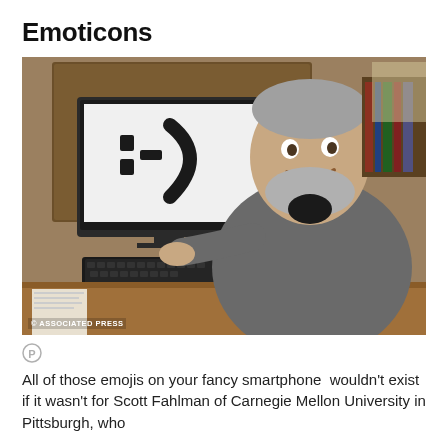Emoticons
[Figure (photo): A smiling older man with gray beard sits at a desk in front of a computer monitor displaying a large smiley face emoticon :-)  He is pointing at the screen. The photo is credited to Associated Press.]
All of those emojis on your fancy smartphone  wouldn't exist if it wasn't for Scott Fahlman of Carnegie Mellon University in Pittsburgh, who